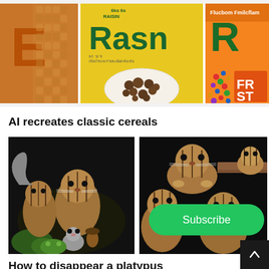[Figure (photo): Three cereal boxes side by side: left shows a honeycomb-textured orange/yellow box with a large orange 'E', center is a yellow Raisin Bran box with raisins, right is a Froot Loops style colorful cereal box.]
AI recreates classic cereals
[Figure (photo): Group of chipmunks and small rodents clustered together on a dark background, with a toy figure among them.]
[Figure (photo): Several chipmunks on a dark background, one climbing a wooden ledge, others looking at camera.]
How to disappear a platypus